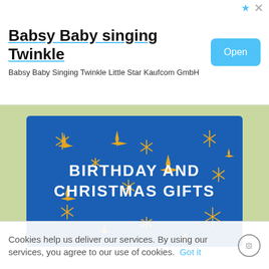[Figure (screenshot): Advertisement banner: Babsy Baby singing Twinkle app ad with Open button]
Babsy Baby singing Twinkle
Babsy Baby Singing Twinkle Little Star Kaufcom GmbH
[Figure (illustration): Blue greeting card with gold stars and text BIRTHDAY AND CHRISTMAS GIFTS]
Cookies help us deliver our services. By using our services, you agree to our use of cookies. Got it